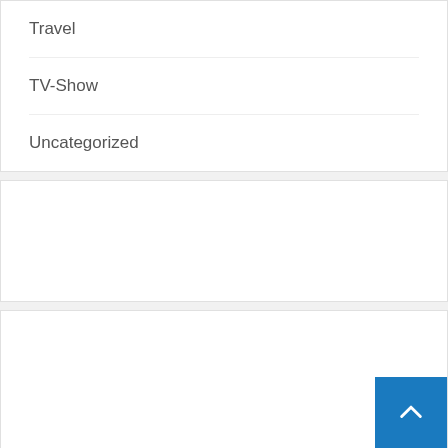Travel
TV-Show
Uncategorized
MOST VIEWED POSTS
Toronto 2021 Movie Reviews (413)